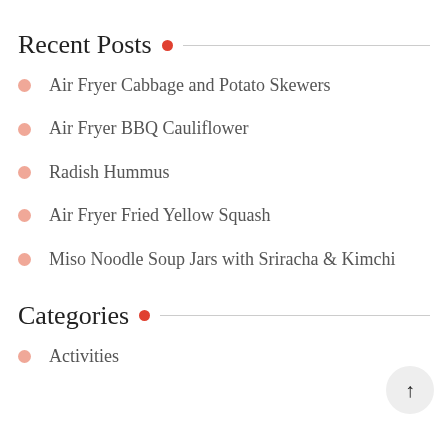Recent Posts
Air Fryer Cabbage and Potato Skewers
Air Fryer BBQ Cauliflower
Radish Hummus
Air Fryer Fried Yellow Squash
Miso Noodle Soup Jars with Sriracha & Kimchi
Categories
Activities